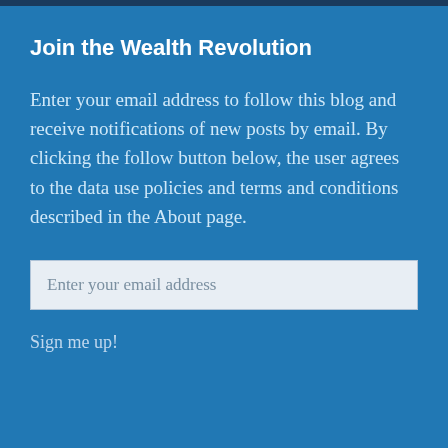Join the Wealth Revolution
Enter your email address to follow this blog and receive notifications of new posts by email. By clicking the follow button below, the user agrees to the data use policies and terms and conditions described in the About page.
Enter your email address
Sign me up!